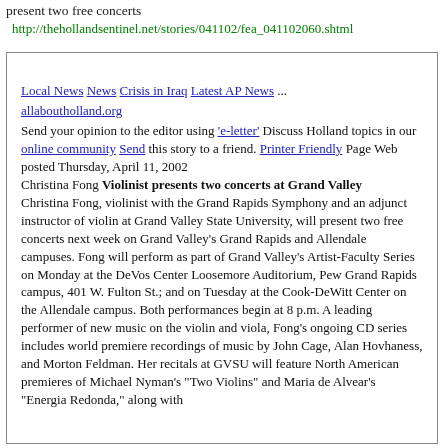present two free concerts
http://thehollandsentinel.net/stories/041102/fea_041102060.shtml
Local News News Crisis in Iraq Latest AP News ... allaboutholland.org Send your opinion to the editor using 'e-letter' Discuss Holland topics in our online community Send this story to a friend. Printer Friendly Page Web posted Thursday, April 11, 2002
Christina Fong Violinist presents two concerts at Grand Valley
Christina Fong, violinist with the Grand Rapids Symphony and an adjunct instructor of violin at Grand Valley State University, will present two free concerts next week on Grand Valley's Grand Rapids and Allendale campuses. Fong will perform as part of Grand Valley's Artist-Faculty Series on Monday at the DeVos Center Loosemore Auditorium, Pew Grand Rapids campus, 401 W. Fulton St.; and on Tuesday at the Cook-DeWitt Center on the Allendale campus. Both performances begin at 8 p.m. A leading performer of new music on the violin and viola, Fong's ongoing CD series includes world premiere recordings of music by John Cage, Alan Hovhaness, and Morton Feldman. Her recitals at GVSU will feature North American premieres of Michael Nyman's "Two Violins" and Maria de Alvear's "Energia Redonda," along with